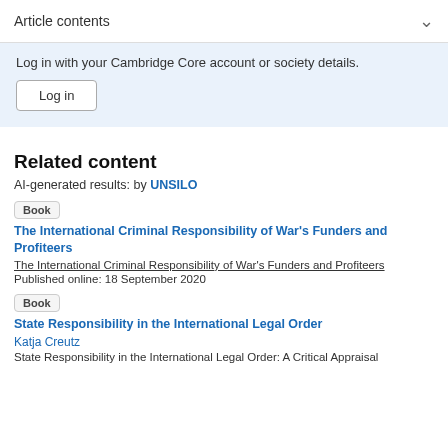Article contents
Log in with your Cambridge Core account or society details.
Log in
Related content
AI-generated results: by UNSILO
Book
The International Criminal Responsibility of War's Funders and Profiteers
The International Criminal Responsibility of War's Funders and Profiteers
Published online: 18 September 2020
Book
State Responsibility in the International Legal Order
Katja Creutz
State Responsibility in the International Legal Order: A Critical Appraisal